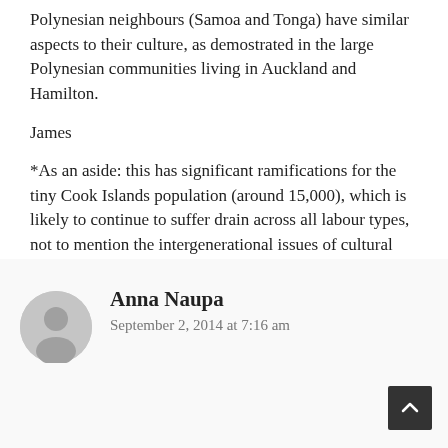Polynesian neighbours (Samoa and Tonga) have similar aspects to their culture, as demostrated in the large Polynesian communities living in Auckland and Hamilton.
James
*As an aside: this has significant ramifications for the tiny Cook Islands population (around 15,000), which is likely to continue to suffer drain across all labour types, not to mention the intergenerational issues of cultural degradation (for example: only a fraction of Cook Islanders born overseas (myself included) can speak Cook Island Maori).
Reply
Anna Naupa
September 2, 2014 at 7:16 am